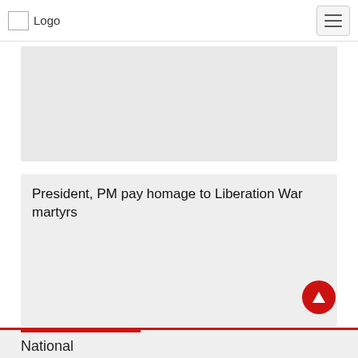Logo (navigation bar with hamburger menu)
[Figure (other): Grey placeholder rectangle, likely an advertisement or image area]
President, PM pay homage to Liberation War martyrs
[Figure (other): Grey content area below article title]
National